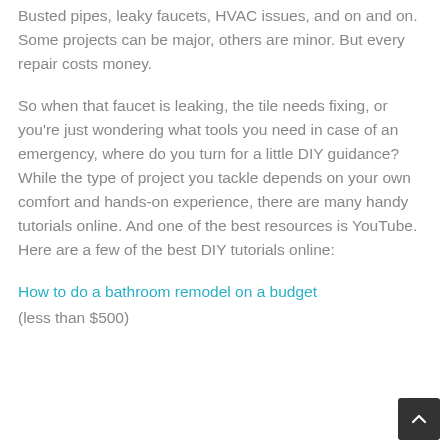Busted pipes, leaky faucets, HVAC issues, and on and on. Some projects can be major, others are minor. But every repair costs money.
So when that faucet is leaking, the tile needs fixing, or you're just wondering what tools you need in case of an emergency, where do you turn for a little DIY guidance? While the type of project you tackle depends on your own comfort and hands-on experience, there are many handy tutorials online. And one of the best resources is YouTube. Here are a few of the best DIY tutorials online:
How to do a bathroom remodel on a budget
(less than $500)